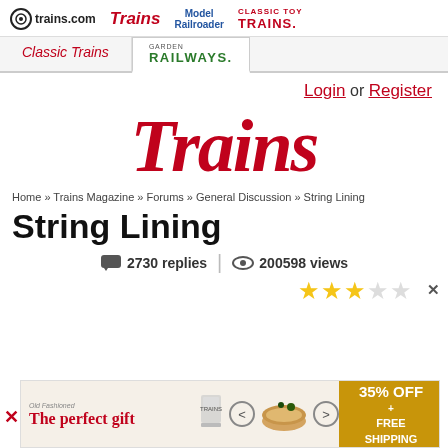trains.com | Trains | Model Railroader | Classic Toy Trains
Classic Trains | Garden Railways
Login or Register
[Figure (logo): Trains magazine logo in large red italic text]
Home » Trains Magazine » Forums » General Discussion » String Lining
String Lining
2730 replies | 200598 views
[Figure (other): 3-star rating out of 5 stars]
[Figure (other): Advertisement banner: The perfect gift, 35% OFF + FREE SHIPPING]